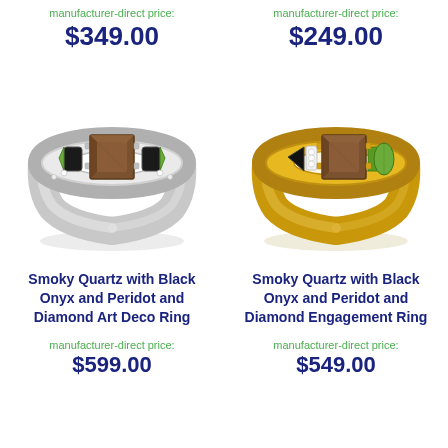manufacturer-direct price:
$349.00
manufacturer-direct price:
$249.00
[Figure (photo): Silver ring with smoky quartz center stone, black onyx and peridot side stones, diamond accents, art deco style]
[Figure (photo): Gold ring with smoky quartz center stone, black onyx and peridot side stones, diamond accents, engagement ring style]
Smoky Quartz with Black Onyx and Peridot and Diamond Art Deco Ring
Smoky Quartz with Black Onyx and Peridot and Diamond Engagement Ring
manufacturer-direct price:
$599.00
manufacturer-direct price:
$549.00